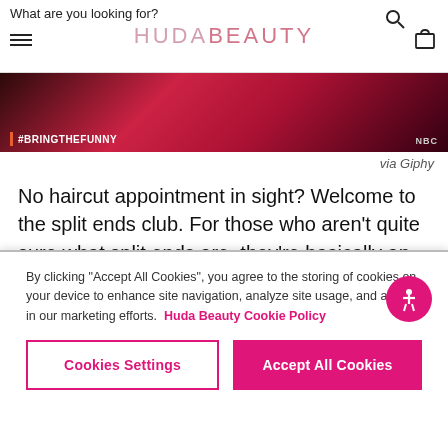What are you looking for? HUDA BEAUTY
[Figure (photo): Dark red/crimson themed image with #BRINGTHEFUNNY tag on left and NBC logo on right]
via Giphy
No haircut appointment in sight? Welcome to the split ends club. For those who aren't quite sure what split ends are, they're basically an unwanted feathering or fraying effect that occurs toward the bottom of the hair shaft. This damage develops over time and is made worse by things like heat styling tools. Ever noticed how pretty and healthy your hair looks after a cut? It's because you just nixed a ton of pesky split ends.
By clicking “Accept All Cookies”, you agree to the storing of cookies on your device to enhance site navigation, analyze site usage, and assist in our marketing efforts. Huda Beauty Cookie Policy
Cookies Settings | Accept All Cookies